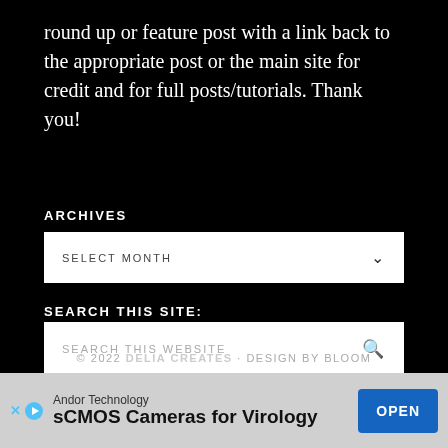round up or feature post with a link back to the appropriate post or the main site for credit and for full posts/tutorials. Thank you!
ARCHIVES
SELECT MONTH
SEARCH THIS SITE:
SEARCH THIS WEBSITE
© 2022 DELIA CREATES · DESIGN BY BLOOM
[Figure (other): Advertisement banner for Andor Technology sCMOS Cameras for Virology with an OPEN button]